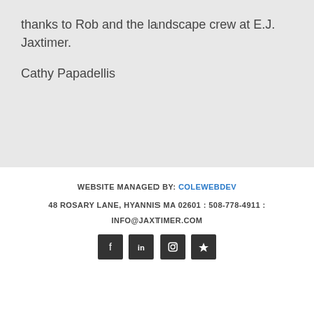thanks to Rob and the landscape crew at E.J. Jaxtimer.
Cathy Papadellis
WEBSITE MANAGED BY: COLEWEBDEV
48 ROSARY LANE, HYANNIS MA 02601 : 508-778-4911 :
INFO@JAXTIMER.COM